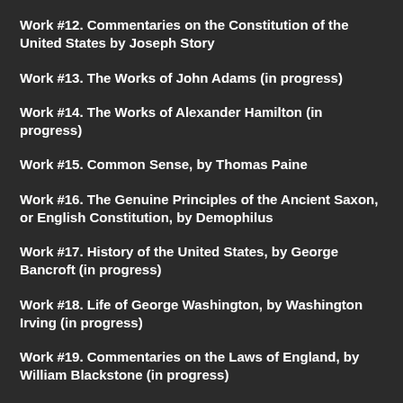Work #12.  Commentaries on the Constitution of the United States by Joseph Story
Work #13.  The Works of John Adams (in progress)
Work #14.  The Works of Alexander Hamilton (in progress)
Work #15.   Common  Sense, by Thomas Paine
Work #16.  The Genuine Principles of the Ancient Saxon, or English Constitution, by Demophilus
Work #17. History of the United States, by George Bancroft (in progress)
Work #18. Life of George Washington, by Washington Irving (in progress)
Work #19. Commentaries on the Laws of England, by William Blackstone (in progress)